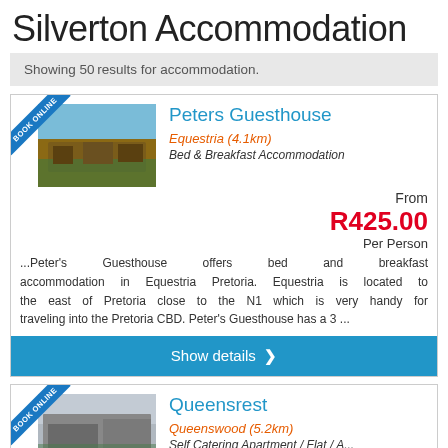Silverton Accommodation
Showing 50 results for accommodation.
Peters Guesthouse
Equestria (4.1km)
Bed & Breakfast Accommodation
From R425.00 Per Person
...Peter's Guesthouse offers bed and breakfast accommodation in Equestria Pretoria. Equestria is located to the east of Pretoria close to the N1 which is very handy for traveling into the Pretoria CBD. Peter's Guesthouse has a 3 ...
Show details
Queensrest
Queenswood (5.2km)